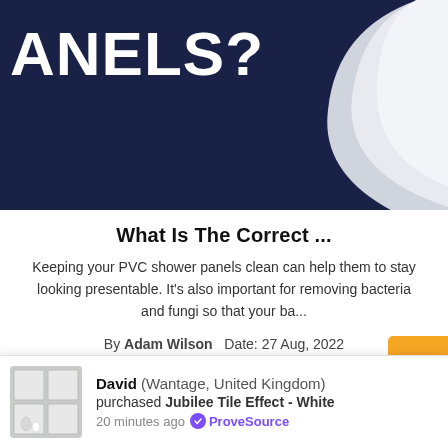[Figure (illustration): Dark navy blue hero image with large bold white text reading 'ANELS?' (partially cropped, part of 'PANELS?'), and a large white curved shape on the right side suggesting a peeled panel or paper.]
What Is The Correct ...
Keeping your PVC shower panels clean can help them to stay looking presentable. It's also important for removing bacteria and fungi so that your ba...
By Adam Wilson   Date: 27 Aug, 2022
David (Wantage, United Kingdom) purchased Jubilee Tile Effect - White 20 minutes ago ✓ ProveSource